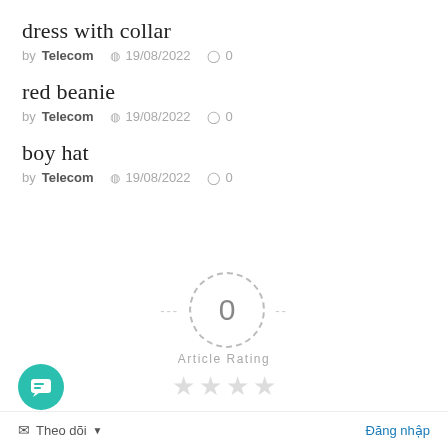dress with collar
by Telecom  19/08/2022  0
red beanie
by Telecom  19/08/2022  0
boy hat
by Telecom  19/08/2022  0
[Figure (other): Article rating widget: dashed circle with number 0, dashes on either side, label 'Article Rating', and 4 gray star icons below]
Theo dõi   Đăng nhập